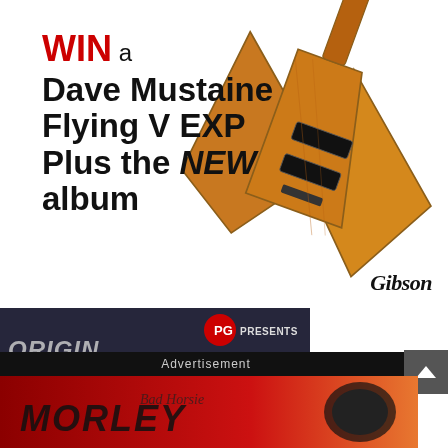[Figure (illustration): Gibson Flying V EXP guitar in amber/wood finish, shown diagonally against white background with Gibson logo]
WIN a Dave Mustaine Flying V EXP Plus the NEW album
[Figure (screenshot): Video thumbnail showing PG Presents First Look segment. Man holding green guitar pedal, Origin Halcyon text overlay, First Look badge, play button visible.]
away from Wren & , and Pigtronix!
Advertisement
[Figure (photo): Close-up of red Morley Bad Horsie wah pedal]